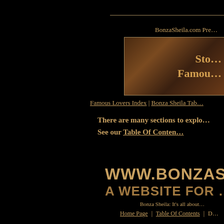BonzaSheila.com Pre...
[Figure (illustration): Banner image showing a romantic couple with decorative text overlay reading 'Sto... Famou...' in gold lettering on a dark warm-toned background]
Famous Lovers Index | Bonza Sheila Tab...
There are many sections to explo... See our Table Of Conten...
[Figure (logo): Large decorative text logo: www.BonzaShe... A WEBSITE FOR... in gold/dark gold color]
Bonza Sheila: It's all about...
Home Page | Table Of Contents | D...